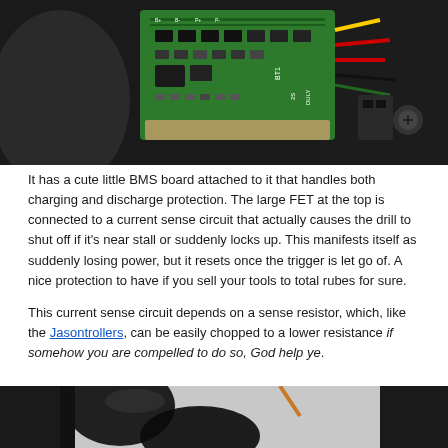[Figure (photo): Close-up photo of a green BMS (Battery Management System) circuit board with various electronic components, wires (red, yellow, black), mounted inside a black power drill casing.]
It has a cute little BMS board attached to it that handles both charging and discharge protection. The large FET at the top is connected to a current sense circuit that actually causes the drill to shut off if it's near stall or suddenly locks up. This manifests itself as suddenly losing power, but it resets once the trigger is let go of. A nice protection to have if you sell your tools to total rubes for sure.
This current sense circuit depends on a sense resistor, which, like the Jasontrollers, can be easily chopped to a lower resistance if somehow you are compelled to do so, God help ye.
[Figure (photo): Close-up photo of black cables/wires inside a drill, partially visible at the bottom of the page.]